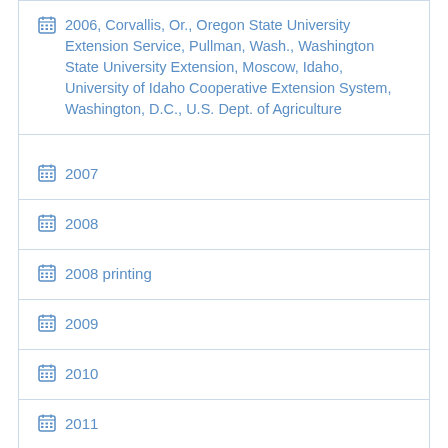2006, Corvallis, Or., Oregon State University Extension Service, Pullman, Wash., Washington State University Extension, Moscow, Idaho, University of Idaho Cooperative Extension System, Washington, D.C., U.S. Dept. of Agriculture
2007
2008
2008 printing
2009
2010
2011
2012
2013